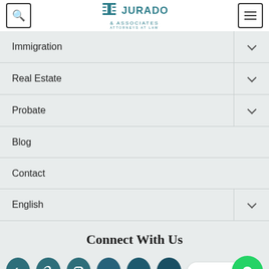Jurado & Associates Attorneys at Law
Immigration
Real Estate
Probate
Blog
Contact
English
Connect With Us
[Figure (illustration): Social media icons: Facebook, Twitter, Instagram, and other circles, plus WhatsApp button]